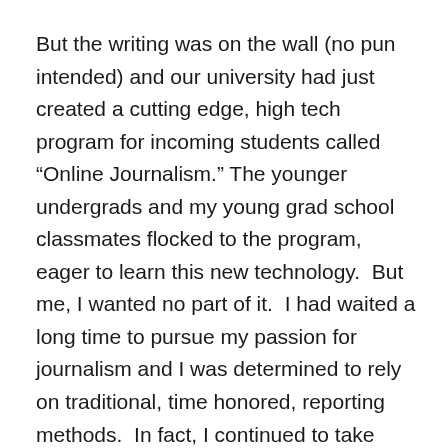But the writing was on the wall (no pun intended) and our university had just created a cutting edge, high tech program for incoming students called “Online Journalism.” The younger undergrads and my young grad school classmates flocked to the program, eager to learn this new technology.  But me, I wanted no part of it.  I had waited a long time to pursue my passion for journalism and I was determined to rely on traditional, time honored, reporting methods.  In fact, I continued to take notes and do my writing in long hand in a spiral notebook.
Those that don’t evolve are soon left behind and after much teasing by my 20-something classmates, I taught myself to compose my assignments on my computer.  When the school built a multi-million dollar state of the art digital newsroom, I registered for classes to learn how to